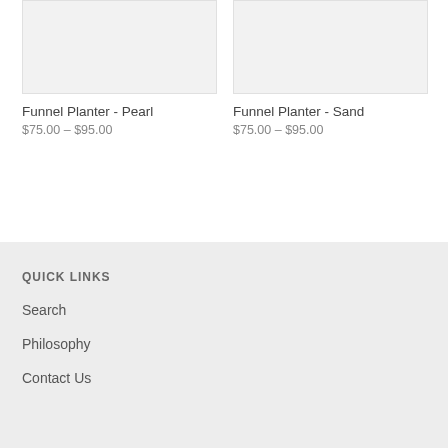[Figure (photo): Product image placeholder for Funnel Planter - Pearl, light gray background]
[Figure (photo): Product image placeholder for Funnel Planter - Sand, light gray background]
Funnel Planter - Pearl
$75.00 – $95.00
Funnel Planter - Sand
$75.00 – $95.00
QUICK LINKS
Search
Philosophy
Contact Us